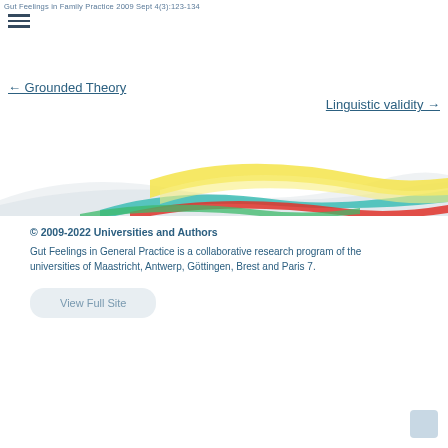Gut Feelings in Family Practice 2009 Sept 4(3):123-134
[Figure (other): Hamburger menu icon (three horizontal lines)]
← Grounded Theory
Linguistic validity →
[Figure (illustration): Decorative wave banner with colorful swoosh lines in teal, yellow, red and grey on white background]
© 2009-2022 Universities and Authors
Gut Feelings in General Practice is a collaborative research program of the universities of Maastricht, Antwerp, Göttingen, Brest and Paris 7.
View Full Site